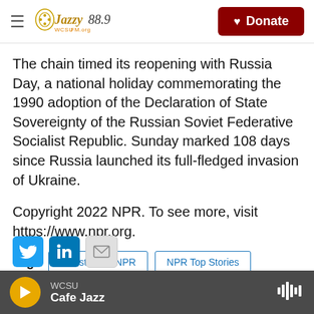Jazzy 88.9 WCSU | Donate
The chain timed its reopening with Russia Day, a national holiday commemorating the 1990 adoption of the Declaration of State Sovereignty of the Russian Soviet Federative Socialist Republic. Sunday marked 108 days since Russia launched its full-fledged invasion of Ukraine.
Copyright 2022 NPR. To see more, visit https://www.npr.org.
Tags  Latest From NPR  NPR Top Stories
WCSU Cafe Jazz